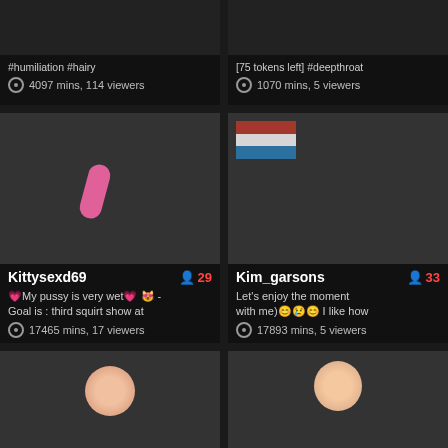#humiliation #hairy
4097 mins, 114 viewers
[75 tokens left] #deepthroat
1070 mins, 5 viewers
[Figure (photo): Adult content - body close-up with pink toy]
Kittysexd69
29 viewers
💗My pussy is very wet💗 😸 - Goal is : third squirt show at
17465 mins, 17 viewers
[Figure (photo): Person sitting on bed with American flag in background]
Kim_garsons
33 viewers
Let's enjoy the moment with me)😊😢😊 I like how
17893 mins, 5 viewers
[Figure (photo): Person with pink/magenta hair and decorative glasses]
[Figure (photo): Person with reddish hair, purple/blue background]